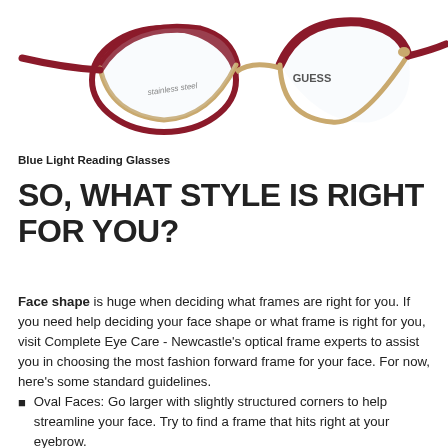[Figure (photo): A pair of cat-eye reading glasses with dark burgundy/red upper frames and gold lower rims, branded GUESS, displayed against a white background. A 'stainless steel' tag is visible on one lens.]
Blue Light Reading Glasses
SO, WHAT STYLE IS RIGHT FOR YOU?
Face shape is huge when deciding what frames are right for you. If you need help deciding your face shape or what frame is right for you, visit Complete Eye Care - Newcastle's optical frame experts to assist you in choosing the most fashion forward frame for your face. For now, here's some standard guidelines.
Oval Faces:  Go larger with slightly structured corners to help streamline your face. Try to find a frame that hits right at your eyebrow.